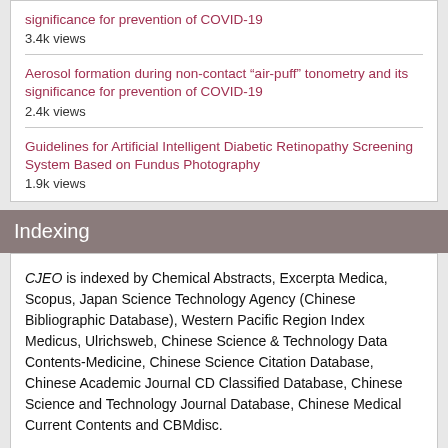significance for prevention of COVID-19
3.4k views
Aerosol formation during non-contact “air-puff” tonometry and its significance for prevention of COVID-19
2.4k views
Guidelines for Artificial Intelligent Diabetic Retinopathy Screening System Based on Fundus Photography
1.9k views
Indexing
CJEO is indexed by Chemical Abstracts, Excerpta Medica, Scopus, Japan Science Technology Agency (Chinese Bibliographic Database), Western Pacific Region Index Medicus, Ulrichsweb, Chinese Science & Technology Data Contents-Medicine, Chinese Science Citation Database, Chinese Academic Journal CD Classified Database, Chinese Science and Technology Journal Database, Chinese Medical Current Contents and CBMdisc.
Media Center – Latest Video
Phacoemulsification combined with intraocular lens